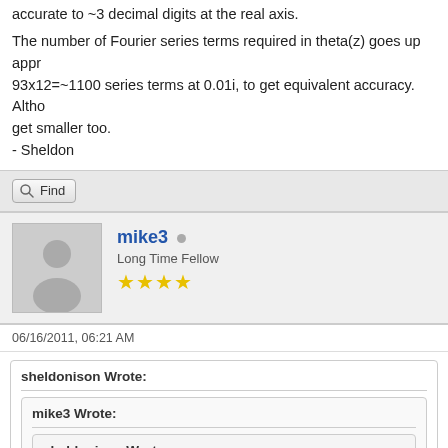accurate to ~3 decimal digits at the real axis.
The number of Fourier series terms required in theta(z) goes up appr 93x12=~1100 series terms at 0.01i, to get equivalent accuracy. Altho get smaller too.
- Sheldon
[Figure (other): Find button with magnifying glass icon]
[Figure (other): User avatar silhouette placeholder image]
mike3
Long Time Fellow
★★★★
06/16/2011, 06:21 AM
sheldonison Wrote:
mike3 Wrote:
sheldonison Wrote: